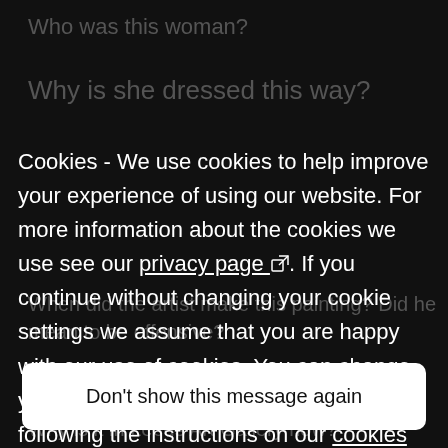Who was this woman?
Why is she dressed this way?
Cookies - We use cookies to help improve your experience of using our website. For more information about the cookies we use see our privacy page. If you continue without changing your cookie settings we assume that you are happy with our use of cookies. You can change your cookie settings at any time by following the instructions on our cookies page.
Why is it in Leeds Art Gallery now?
Don't show this message again